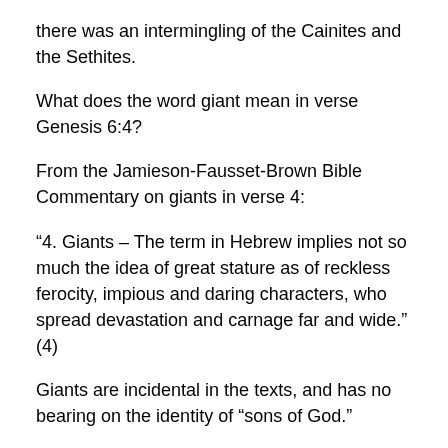there was an intermingling of the Cainites and the Sethites.
What does the word giant mean in verse Genesis 6:4?
From the Jamieson-Fausset-Brown Bible Commentary on giants in verse 4:
“4. Giants – The term in Hebrew implies not so much the idea of great stature as of reckless ferocity, impious and daring characters, who spread devastation and carnage far and wide.” (4)
Giants are incidental in the texts, and has no bearing on the identity of “sons of God.”
Modern commentary entries:
Who were the “sons of God” by Trevor J. Major?